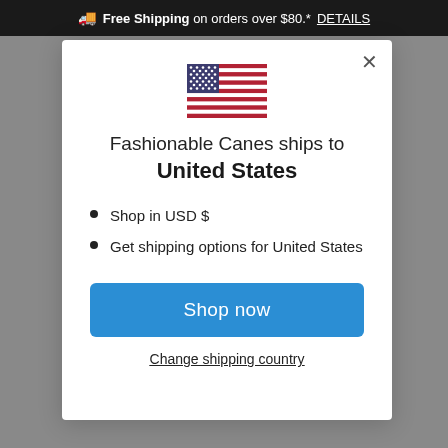🚚 Free Shipping on orders over $80.* DETAILS
[Figure (illustration): US flag SVG icon]
Fashionable Canes ships to United States
Shop in USD $
Get shipping options for United States
Shop now
Change shipping country